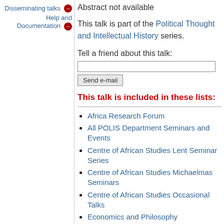Disseminating talks
Help and Documentation
Abstract not available
This talk is part of the Political Thought and Intellectual History series.
Tell a friend about this talk:
This talk is included in these lists:
Africa Research Forum
All POLIS Department Seminars and Events
Centre of African Studies Lent Seminar Series
Centre of African Studies Michaelmas Seminars
Centre of African Studies Occasional Talks
Economics and Philosophy
Gem's List
History and Philosophy of